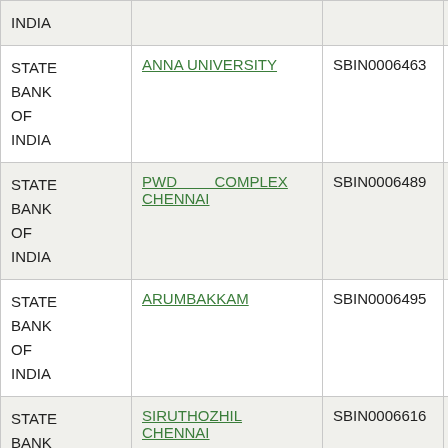| STATE BANK OF INDIA |  |  |  |
| STATE BANK OF INDIA | ANNA UNIVERSITY | SBIN0006463 | 600002039 |
| STATE BANK OF INDIA | PWD COMPLEX CHENNAI | SBIN0006489 | 600002036 |
| STATE BANK OF INDIA | ARUMBAKKAM | SBIN0006495 | 600002008 |
| STATE BANK OF INDIA | SIRUTHOZHIL CHENNAI | SBIN0006616 | 600002050 |